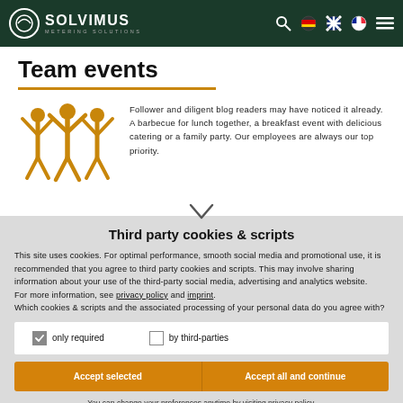SOLVIMUS METERING SOLUTIONS
Team events
[Figure (illustration): Three orange stick figures with arms raised in a team celebration pose]
Follower and diligent blog readers may have noticed it already. A barbecue for lunch together, a breakfast event with delicious catering or a family party. Our employees are always our top priority.
Third party cookies & scripts
This site uses cookies. For optimal performance, smooth social media and promotional use, it is recommended that you agree to third party cookies and scripts. This may involve sharing information about your use of the third-party social media, advertising and analytics website.
For more information, see privacy policy and imprint.
Which cookies & scripts and the associated processing of your personal data do you agree with?
only required   by third-parties
Accept selected   Accept all and continue
You can change your preferences anytime by visiting privacy policy.